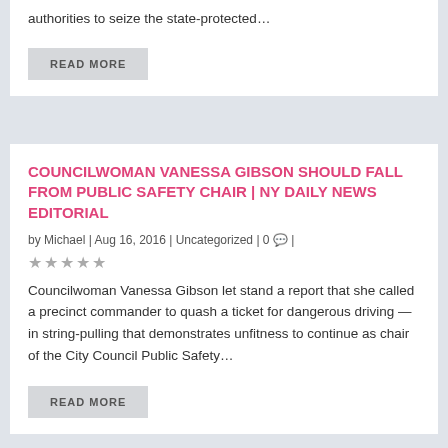authorities to seize the state-protected…
READ MORE
COUNCILWOMAN VANESSA GIBSON SHOULD FALL FROM PUBLIC SAFETY CHAIR | NY DAILY NEWS EDITORIAL
by Michael | Aug 16, 2016 | Uncategorized | 0 💬 |
☆☆☆☆☆
Councilwoman Vanessa Gibson let stand a report that she called a precinct commander to quash a ticket for dangerous driving — in string-pulling that demonstrates unfitness to continue as chair of the City Council Public Safety…
READ MORE